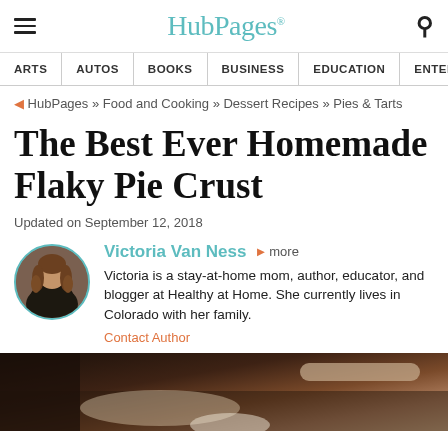HubPages
ARTS | AUTOS | BOOKS | BUSINESS | EDUCATION | ENTERTA
HubPages » Food and Cooking » Dessert Recipes » Pies & Tarts
The Best Ever Homemade Flaky Pie Crust
Updated on September 12, 2018
Victoria Van Ness more
Victoria is a stay-at-home mom, author, educator, and blogger at Healthy at Home. She currently lives in Colorado with her family.
Contact Author
[Figure (photo): Bottom portion of a food/baking photo showing a dark wooden surface with rolling pin and pie dough ingredients]